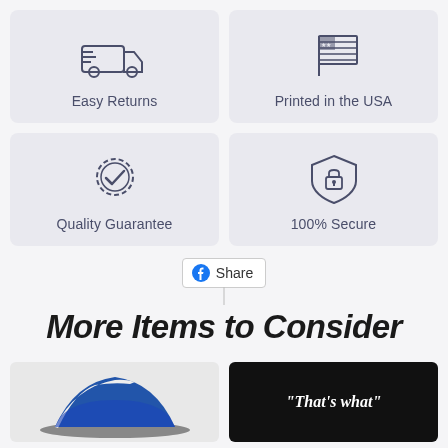[Figure (infographic): Four feature cards in a 2x2 grid: Easy Returns (truck icon), Printed in the USA (flag icon), Quality Guarantee (badge with checkmark icon), 100% Secure (shield with lock icon)]
[Figure (infographic): Facebook Share button with a vertical line below it]
More Items to Consider
[Figure (photo): Blue and white baseball cap product image on light background]
[Figure (photo): Dark product image with quote text: "That's what"]